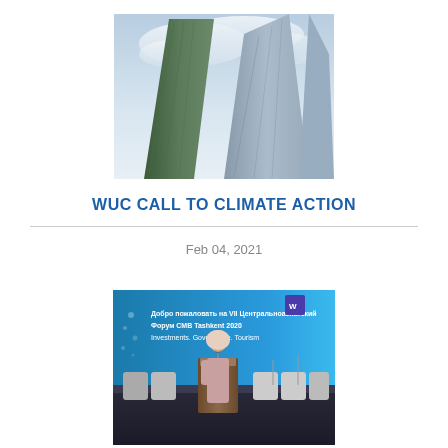[Figure (photo): Looking up at the corners of modern glass skyscrapers against a cloudy sky, shot from below]
WUC CALL TO CLIMATE ACTION
Feb 04, 2021
[Figure (photo): A woman in a headscarf speaking at a podium on a stage with chairs and a large banner in Russian and English text: 'Добро пожаловать на VII Центральноазиатский Форум СМВ Tashkent 2020 Investments. Governance. Tourism']